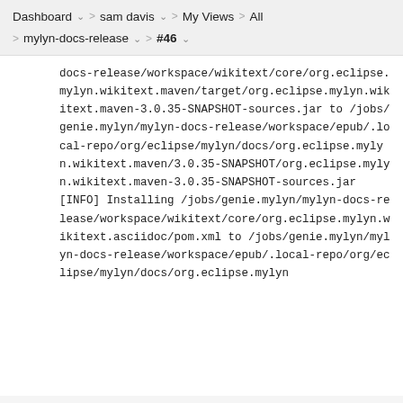Dashboard > sam davis > My Views > All > mylyn-docs-release > #46
docs-release/workspace/wikitext/core/org.eclipse.mylyn.wikitext.maven/target/org.eclipse.mylyn.wikitext.maven-3.0.35-SNAPSHOT-sources.jar to /jobs/genie.mylyn/mylyn-docs-release/workspace/epub/.local-repo/org/eclipse/mylyn/docs/org.eclipse.mylyn.wikitext.maven/3.0.35-SNAPSHOT/org.eclipse.mylyn.wikitext.maven-3.0.35-SNAPSHOT-sources.jar
[INFO] Installing /jobs/genie.mylyn/mylyn-docs-release/workspace/wikitext/core/org.eclipse.mylyn.wikitext.asciidoc/pom.xml to /jobs/genie.mylyn/mylyn-docs-release/workspace/epub/.local-repo/org/eclipse/mylyn/docs/org.eclipse.mylyn